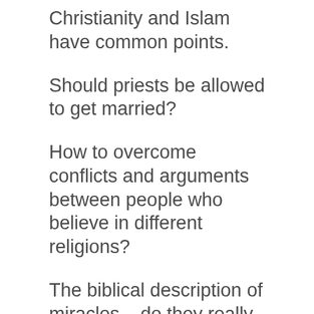Christianity and Islam have common points.
Should priests be allowed to get married?
How to overcome conflicts and arguments between people who believe in different religions?
The biblical description of miracles – do they really happen?
Interesting Topics about Christianity